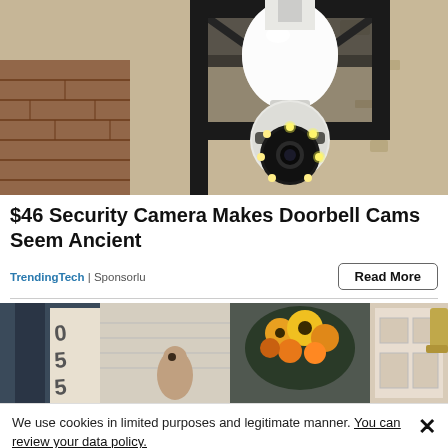[Figure (photo): A security camera shaped like a light bulb mounted inside a black outdoor lantern fixture on a textured stucco/stone wall. The camera has a round lens with LED lights around it.]
$46 Security Camera Makes Doorbell Cams Seem Ancient
TrendingTech | Sponsorlu
Read More
[Figure (photo): A collage of front door / entryway photos showing house numbers (055), a person, fall flower arrangements, and outdoor lamps.]
We use cookies in limited purposes and legitimate manner. You can review your data policy.